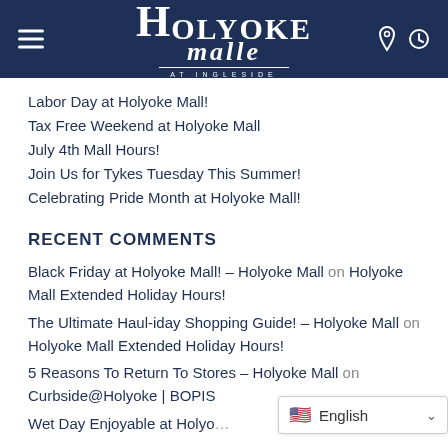HOLYOKE malle AT INGLESIDE
Labor Day at Holyoke Mall!
Tax Free Weekend at Holyoke Mall
July 4th Mall Hours!
Join Us for Tykes Tuesday This Summer!
Celebrating Pride Month at Holyoke Mall!
RECENT COMMENTS
Black Friday at Holyoke Mall! – Holyoke Mall on Holyoke Mall Extended Holiday Hours!
The Ultimate Haul-iday Shopping Guide! – Holyoke Mall on Holyoke Mall Extended Holiday Hours!
5 Reasons To Return To Stores – Holyoke Mall on Curbside@Holyoke | BOPIS
Wet Day Enjoyable at Holyo…